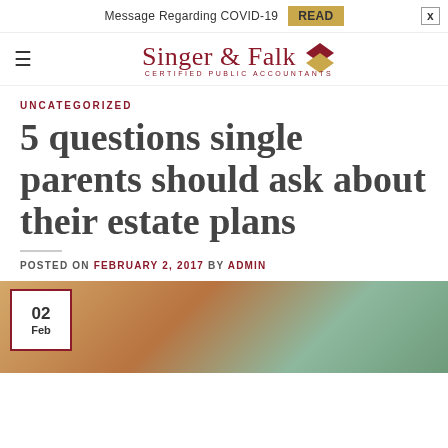Message Regarding COVID-19  READ  X
[Figure (logo): Singer & Falk Certified Public Accountants logo with diamond icon]
UNCATEGORIZED
5 questions single parents should ask about their estate plans
POSTED ON FEBRUARY 2, 2017 BY ADMIN
[Figure (photo): A mother and child, woman leaning over child, background with green plants and window light. Date badge overlay showing 02 Feb.]